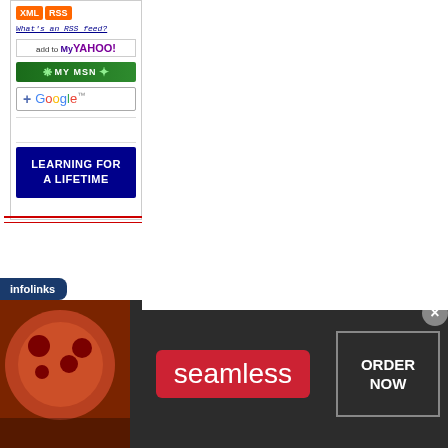[Figure (screenshot): RSS feed subscription sidebar with XML and RSS orange buttons, 'What's an RSS feed?' link, Add to My Yahoo! button, My MSN button, Add to Google button, and a 'Learning for a Lifetime' blue banner ad]
[Figure (logo): infolinks advertising network label in dark blue with white text]
[Figure (screenshot): Seamless food delivery advertisement banner with pizza image on left, Seamless logo in center on red background, and ORDER NOW button on right with close X button]